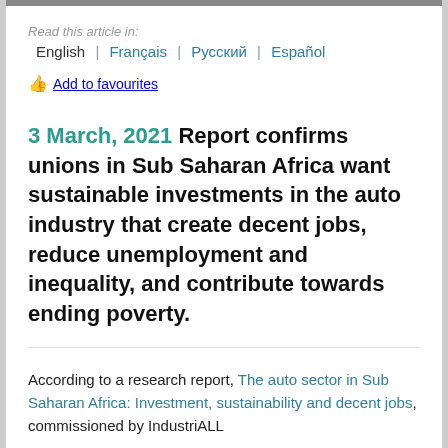Read this article in:
English | Français | Русский | Español
👍 Add to favourites
3 March, 2021 Report confirms unions in Sub Saharan Africa want sustainable investments in the auto industry that create decent jobs, reduce unemployment and inequality, and contribute towards ending poverty.
According to a research report, The auto sector in Sub Saharan Africa: Investment, sustainability and decent jobs, commissioned by IndustriALL